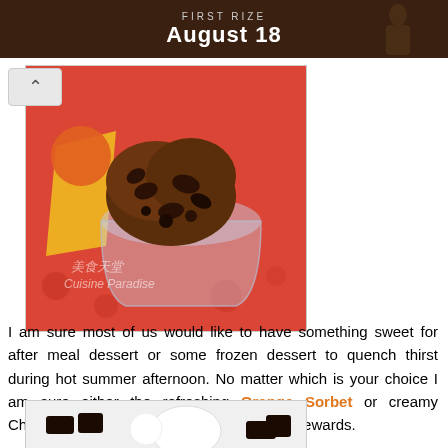[Figure (photo): Dark brown banner with text 'FIRST RIZE' and 'August 18' in white, with a figure silhouette on the right]
[Figure (photo): Overhead view of chocolate ice cream with chocolate chips in a clear glass cup on a red patterned tablecloth, with watermark 'Cuisine Paradise']
I am sure most of us would like to have something sweet for after meal dessert or some frozen dessert to quench thirst during hot summer afternoon. No matter which is your choice I am sure either the refreshing Orange Sorbet or creamy Chocolate Ice-Cream will make some good rewards.
[Figure (photo): Photo showing chocolate pieces and a white bowl/cup on a white plate, partially visible]